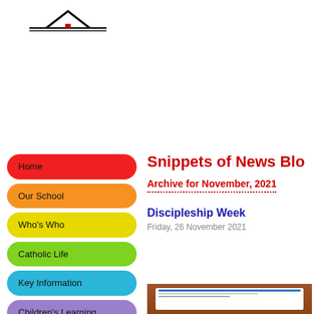[Figure (logo): School logo with triangular mountain/roof shape and horizontal lines]
Home
Our School
Who's Who
Catholic Life
Key Information
Children's Learning
Snippets of News Blog
Archive for November, 2021
Discipleship Week
Friday, 26 November 2021
[Figure (screenshot): Screenshot of a document or presentation slide]